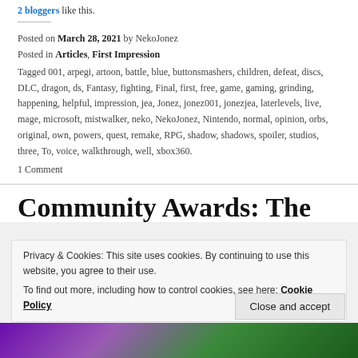2 bloggers like this.
Posted on March 28, 2021 by NekoJonez
Posted in Articles, First Impression
Tagged 001, arpegi, artoon, battle, blue, buttonsmashers, children, defeat, discs, DLC, dragon, ds, Fantasy, fighting, Final, first, free, game, gaming, grinding, happening, helpful, impression, jea, Jonez, jonez001, jonezjea, laterlevels, live, mage, microsoft, mistwalker, neko, NekoJonez, Nintendo, normal, opinion, orbs, original, own, powers, quest, remake, RPG, shadow, shadows, spoiler, studios, three, To, voice, walkthrough, well, xbox360.
1 Comment
Community Awards: The
Privacy & Cookies: This site uses cookies. By continuing to use this website, you agree to their use.
To find out more, including how to control cookies, see here: Cookie Policy
Close and accept
[Figure (photo): Bottom strip showing purple and green colors, partially visible image]